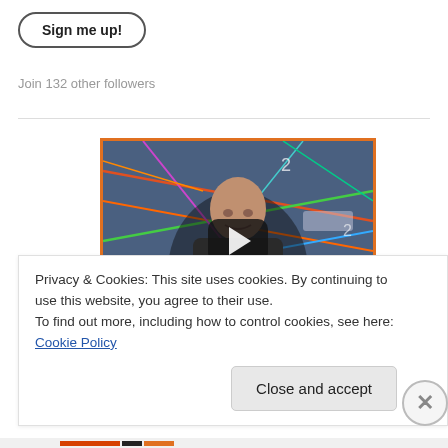Sign me up!
Join 132 other followers
[Figure (screenshot): Video player thumbnail showing a bald man in a dark shirt standing in front of a colorful network/diagram background, with a large play button overlay. The video player has an orange border.]
Privacy & Cookies: This site uses cookies. By continuing to use this website, you agree to their use.
To find out more, including how to control cookies, see here: Cookie Policy
Close and accept